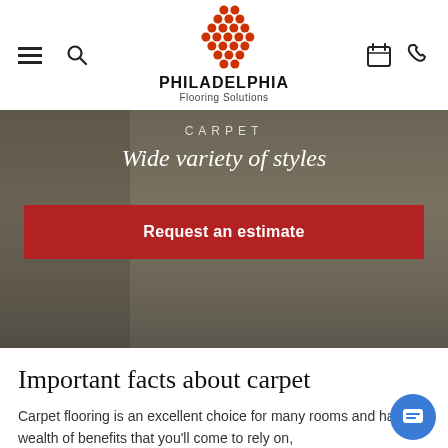[Figure (logo): Philadelphia Flooring Solutions logo with orange dot triangle pattern above the text]
[Figure (photo): Hero carpet image with dark gray carpet, furniture in background, CARPET label and 'Wide variety of styles' text overlay, and red 'Request an estimate' button]
Important facts about carpet
Carpet flooring is an excellent choice for many rooms and has a wealth of benefits that you'll come to rely on,